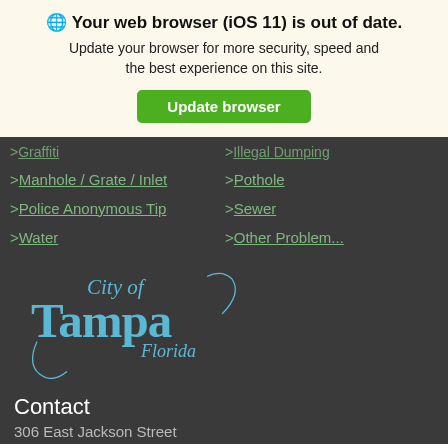🌐 Your web browser (iOS 11) is out of date. Update your browser for more security, speed and the best experience on this site.
Update browser
> Graffiti
> Illegal Dumping
> Manhole / Grate / Inlet
> Pothole
> Police Anonymous Tip
> Sewer
> Water
> Other Problem...
[Figure (logo): City of Tampa Florida logo in blue script/serif lettering on dark background]
Contact
306 East Jackson Street